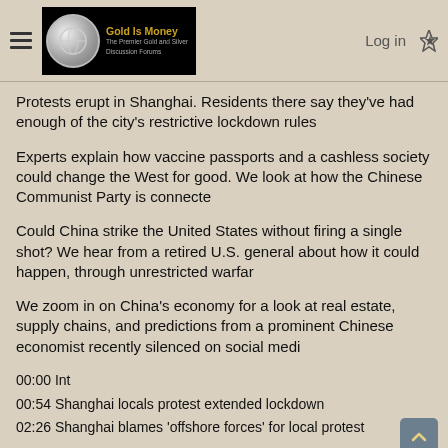Gold Is Money — The Premier Gold and Silver Discussion Forums | Log in
Protests erupt in Shanghai. Residents there say they've had enough of the city's restrictive lockdown rules
Experts explain how vaccine passports and a cashless society could change the West for good. We look at how the Chinese Communist Party is connecte
Could China strike the United States without firing a single shot? We hear from a retired U.S. general about how it could happen, through unrestricted warfar
We zoom in on China's economy for a look at real estate, supply chains, and predictions from a prominent Chinese economist recently silenced on social medi
00:00 Int
00:54 Shanghai locals protest extended lockdown
02:26 Shanghai blames 'offshore forces' for local protest